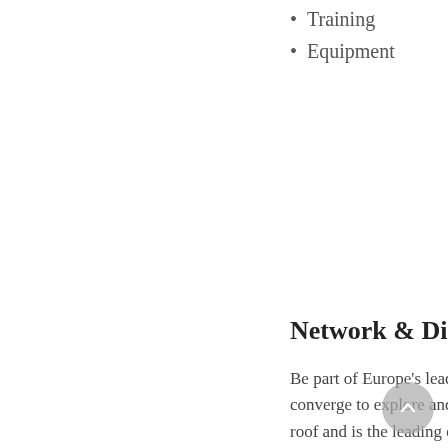Training
Equipment
Network & Disc
Be part of Europe's leadi converge to explore and roof and is the leading de